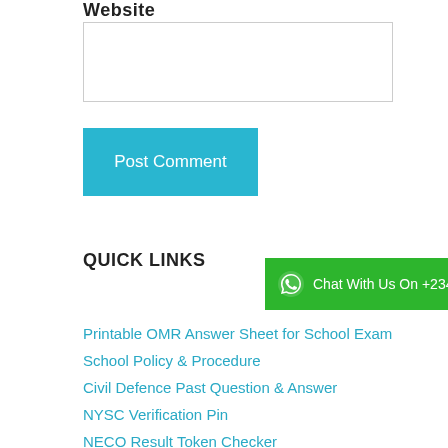Website
[Figure (other): Website URL text input field (empty)]
Post Comment
QUICK LINKS
[Figure (infographic): WhatsApp chat banner: Chat With Us On +2348051311885,]
Printable OMR Answer Sheet for School Exam
School Policy & Procedure
Civil Defence Past Question & Answer
NYSC Verification Pin
NECO Result Token Checker
JAMB O level Result Uploading
JAMB Multiple Registration Clarification